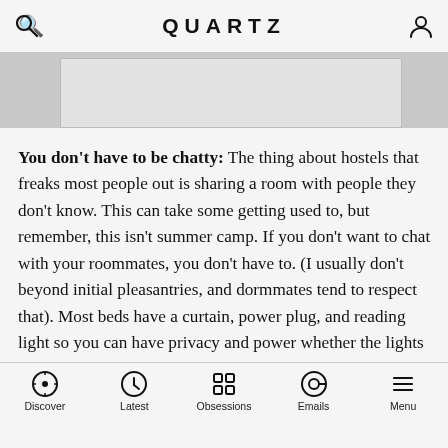QUARTZ
[Figure (photo): Partially visible image behind a white bordered box, shown on a gray background banner]
You don't have to be chatty: The thing about hostels that freaks most people out is sharing a room with people they don't know. This can take some getting used to, but remember, this isn't summer camp. If you don't want to chat with your roommates, you don't have to. (I usually don't beyond initial pleasantries, and dorm-mates tend to respect that). Most beds have a curtain, power plug, and reading light so you can have privacy and power whether the lights are on or off. If you're in a dorm, you will need to go to the communal bathroom for privacy, so make sure your packing is organized enough to keep your toiletries and clothing accessible.
Discover | Latest | Obsessions | Emails | Menu